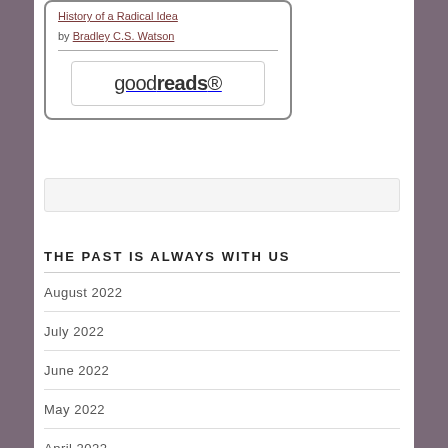[Figure (screenshot): Book widget showing title 'History of a Radical Idea' by Bradley C.S. Watson with a Goodreads button]
History of a Radical Idea
by Bradley C.S. Watson
[Figure (logo): Goodreads logo button]
[Figure (screenshot): Search bar, empty]
THE PAST IS ALWAYS WITH US
August 2022
July 2022
June 2022
May 2022
April 2022
March 2022